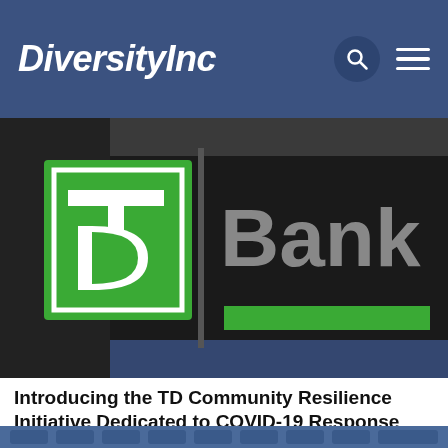DiversityInc
[Figure (photo): TD Bank signage showing the TD logo (green square with white TD letters) next to the word 'Bank' in gray letters on a dark background with a green horizontal stripe]
Introducing the TD Community Resilience Initiative Dedicated to COVID-19 Response and Community Recovery
[Figure (photo): Partial view of blue chairs or seats in rows, bottom strip of image]